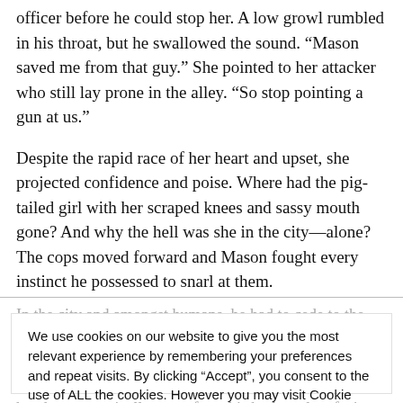officer before he could stop her. A low growl rumbled in his throat, but he swallowed the sound. “Mason saved me from that guy.” She pointed to her attacker who still lay prone in the alley. “So stop pointing a gun at us.”
Despite the rapid race of her heart and upset, she projected confidence and poise. Where had the pig-tailed girl with her scraped knees and sassy mouth gone? And why the hell was she in the city—alone? The cops moved forward and Mason fought every instinct he possessed to snarl at them.
In the city and amongst humans, he had to cede to the authority figures and never for intimidation or threatening behavior... he two officers if they turned out to be trouble, he kept his hands syst... ny from his body, palms facing e...
We use cookies on our website to give you the most relevant experience by remembering your preferences and repeat visits. By clicking “Accept”, you consent to the use of ALL the cookies. However you may visit Cookie Settings to provide a controlled consent.